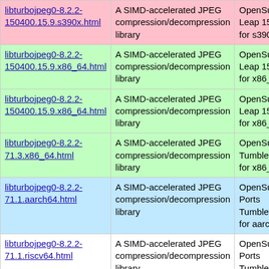| libturbojpeg0-8.2.2-150400.15.9.s390x.html | A SIMD-accelerated JPEG compression/decompression library | OpenSuSE Leap 15.5 for s390x |
| libturbojpeg0-8.2.2-150400.15.9.x86_64.html | A SIMD-accelerated JPEG compression/decompression library | OpenSuSE Leap 15.4 for x86_64 |
| libturbojpeg0-8.2.2-150400.15.9.x86_64.html | A SIMD-accelerated JPEG compression/decompression library | OpenSuSE Leap 15.5 for x86_64 |
| libturbojpeg0-8.2.2-71.3.x86_64.html | A SIMD-accelerated JPEG compression/decompression library | OpenSuSE Tumbleweed for x86_64 |
| libturbojpeg0-8.2.2-71.1.aarch64.html | A SIMD-accelerated JPEG compression/decompression library | OpenSuSE Ports Tumbleweed for aarch64 |
| libturbojpeg0-8.2.2-71.1.riscv64.html | A SIMD-accelerated JPEG compression/decompression library | OpenSuSE Ports Tumbleweed for riscv64 |
| libturbojpeg0-8.2.2-71.1.s390x.html | A SIMD-accelerated JPEG compression/decompression library | OpenSuSE Ports Tumbleweed for s390x |